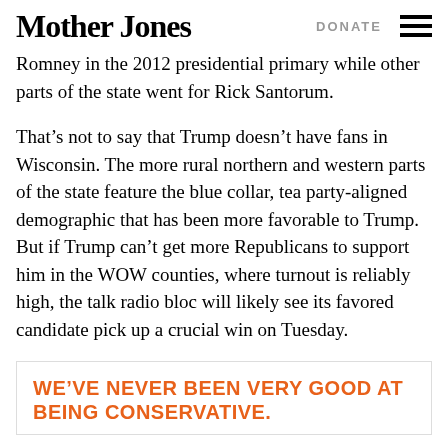Mother Jones | DONATE
Romney in the 2012 presidential primary while other parts of the state went for Rick Santorum.
That’s not to say that Trump doesn’t have fans in Wisconsin. The more rural northern and western parts of the state feature the blue collar, tea party-aligned demographic that has been more favorable to Trump. But if Trump can’t get more Republicans to support him in the WOW counties, where turnout is reliably high, the talk radio bloc will likely see its favored candidate pick up a crucial win on Tuesday.
WE’VE NEVER BEEN VERY GOOD AT BEING CONSERVATIVE.